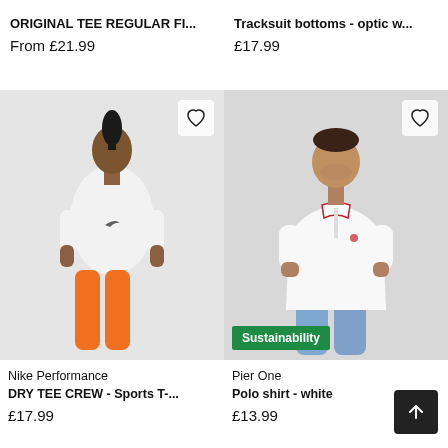ORIGINAL TEE REGULAR FI...
Tracksuit bottoms - optic w...
From £21.99
£17.99
[Figure (photo): Woman wearing white Nike t-shirt and orange leggings on grey background]
Nike Performance DRY TEE CREW - Sports T-...
£17.99
[Figure (photo): Man wearing white Pier One polo shirt with red trim and blue jeans on grey background, with green Sustainability badge]
Pier One Polo shirt - white
£13.99